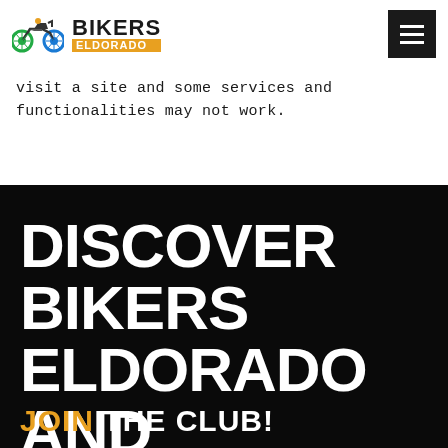Bikers Eldorado — navigation header with logo and hamburger menu
visit a site and some services and functionalities may not work.
DISCOVER BIKERS ELDORADO AND TRAVEL WITH US
JOIN THE CLUB!